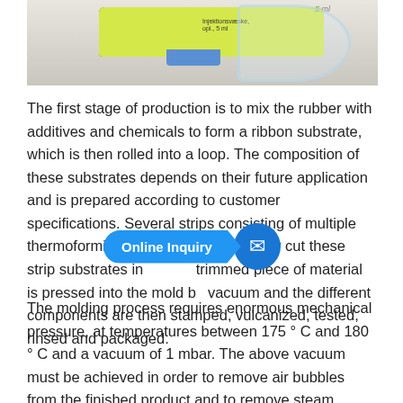[Figure (photo): Photo of a medical vial/ampoule with yellow label marked '5 ml', red band, blue cap, and a glass syringe or container beside it on a white surface.]
The first stage of production is to mix the rubber with additives and chemicals to form a ribbon substrate, which is then rolled into a loop. The composition of these substrates depends on their future application and is prepared according to customer specifications. Several strips consisting of multiple thermoforming machines automatically cut these strip substrates into... The trimmed piece of material is pressed into the mold by vacuum and the different components are then stamped, vulcanized, tested, rinsed and packaged.
The molding process requires enormous mechanical pressure, at temperatures between 175 ° C and 180 ° C and a vacuum of 1 mbar. The above vacuum must be achieved in order to remove air bubbles from the finished product and to remove steam generated by high temperatures and